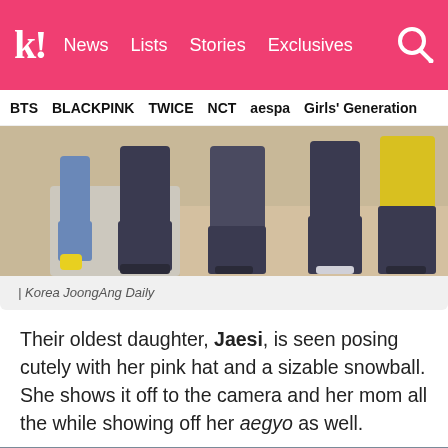k! News  Lists  Stories  Exclusives
BTS  BLACKPINK  TWICE  NCT  aespa  Girls' Generation
[Figure (photo): Photo of people seated, showing legs and feet, one person wearing yellow shoes, from Korea JoongAng Daily]
| Korea JoongAng Daily
Their oldest daughter, Jaesi, is seen posing cutely with her pink hat and a sizable snowball. She shows it off to the camera and her mom all the while showing off her aegyo as well.
[Figure (photo): Partially visible photo with blue-grey background, bottom of page]